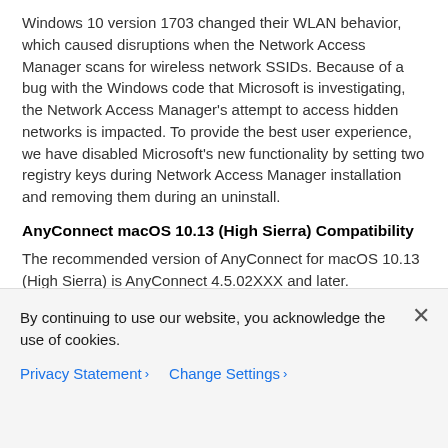Windows 10 version 1703 changed their WLAN behavior, which caused disruptions when the Network Access Manager scans for wireless network SSIDs. Because of a bug with the Windows code that Microsoft is investigating, the Network Access Manager's attempt to access hidden networks is impacted. To provide the best user experience, we have disabled Microsoft's new functionality by setting two registry keys during Network Access Manager installation and removing them during an uninstall.
AnyConnect macOS 10.13 (High Sierra) Compatibility
The recommended version of AnyConnect for macOS 10.13 (High Sierra) is AnyConnect 4.5.02XXX and later.
AnyConnect 4.5.02XXX and above has additional functionality and warnings to guide users through the steps needed to leverage AnyConnect's complete capabilities, by enabling the AnyConnect software extension in their macOS Preferences -> Security & Privacy pane. The requirement to manually enable the software extension is a
By continuing to use our website, you acknowledge the use of cookies.
Privacy Statement > Change Settings >